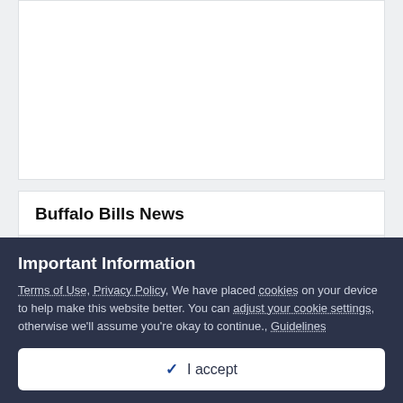[Figure (other): White card panel, empty content area]
Buffalo Bills News
Who Are the Bills Mafia? By BillsFans Staff Writer December 19, 2020 — 184 comments
Important Information
Terms of Use, Privacy Policy, We have placed cookies on your device to help make this website better. You can adjust your cookie settings, otherwise we'll assume you're okay to continue., Guidelines
✓ I accept